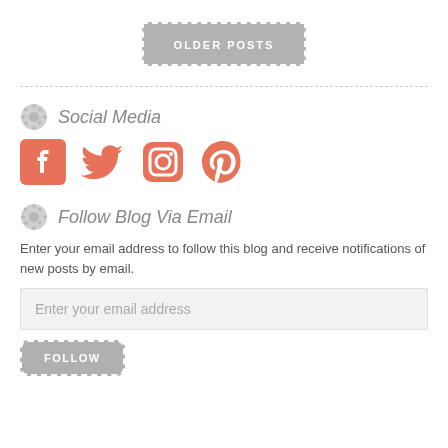[Figure (other): Older Posts button with dashed white border on gray background]
Social Media
[Figure (infographic): Social media icons: Facebook, Twitter, Instagram, Pinterest in salmon/coral color]
Follow Blog Via Email
Enter your email address to follow this blog and receive notifications of new posts by email.
[Figure (other): Email input field with placeholder text 'Enter your email address']
[Figure (other): Follow button with dashed white border on gray background, partially visible at bottom]